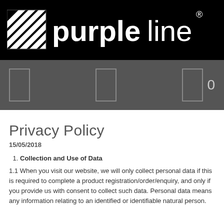[Figure (logo): Purpleline logo: black background with diagonal striped square icon and 'purpleline' text in white with registered trademark symbol]
[Figure (infographic): Gray navigation bar with three outlined rectangles (icons) and a '0' label]
Privacy Policy
15/05/2018
Collection and Use of Data
1.1 When you visit our website, we will only collect personal data if this is required to complete a product registration/order/enquiry, and only if you provide us with consent to collect such data. Personal data means any information relating to an identified or identifiable natural person.